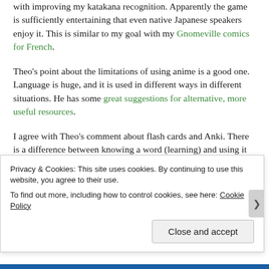with improving my katakana recognition. Apparently the game is sufficiently entertaining that even native Japanese speakers enjoy it. This is similar to my goal with my Gnomeville comics for French.
Theo's point about the limitations of using anime is a good one. Language is huge, and it is used in different ways in different situations. He has some great suggestions for alternative, more useful resources.
I agree with Theo's comment about flash cards and Anki. There is a difference between knowing a word (learning) and using it (acquisition).  This is why focusing on the four skills of reading, writing, listening and speaking are...
Privacy & Cookies: This site uses cookies. By continuing to use this website, you agree to their use.
To find out more, including how to control cookies, see here: Cookie Policy
Close and accept